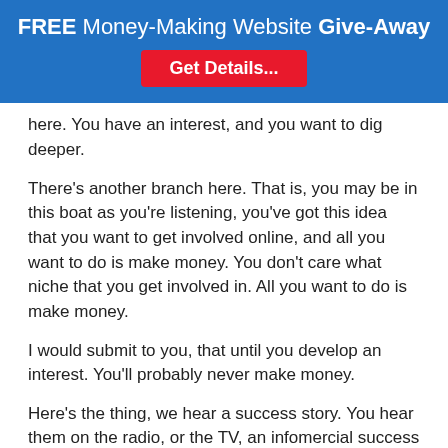FREE Money-Making Website Give-Away
Get Details...
here. You have an interest, and you want to dig deeper.
There's another branch here. That is, you may be in this boat as you're listening, you've got this idea that you want to get involved online, and all you want to do is make money. You don't care what niche that you get involved in. All you want to do is make money.
I would submit to you, that until you develop an interest. You'll probably never make money.
Here's the thing, we hear a success story. You hear them on the radio, or the TV, an infomercial success story, every so often. Somebody will say, “Oh, all I wanted to do was to make money. And, I found a friend who was making money in a particular niche. And I just copied what he did, and oh, I'm making money too.”